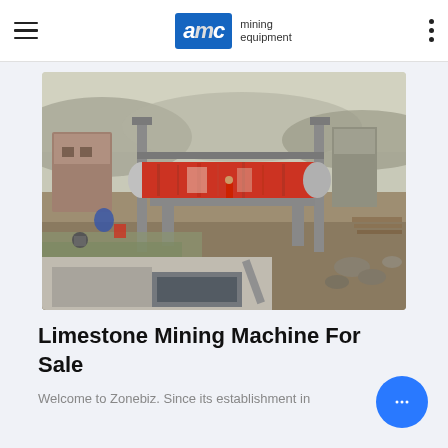AMC mining equipment
[Figure (photo): Aerial view of a limestone mining site with a large red cylindrical ball mill machine mounted on steel supports, surrounded by industrial mining infrastructure, water channels, and rocky terrain in an outdoor setting.]
Limestone Mining Machine For Sale
Welcome to Zonebiz. Since its establishment in